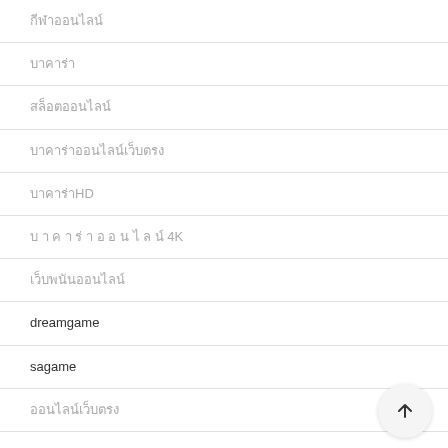กีฬาออนไลน์
บาคาร่า
สล็อตออนไลน์
บาคาร่าออนไลน์เว็บตรง
บาคาร่าHD
บ า ค า ร่ า อ อ น ไ ล น์ 4K
เว็บพนันออนไลน์
dreamgame
sagame
ออนไลน์เว็บตรง